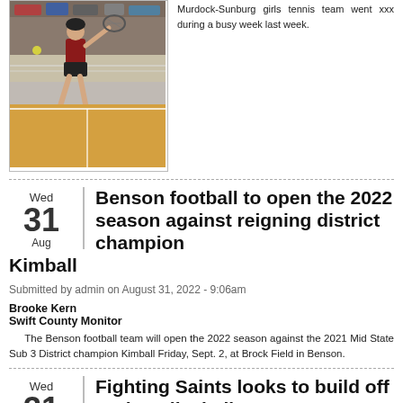[Figure (photo): A female tennis player in action on a tennis court, wearing dark uniform, mid-swing.]
Murdock-Sunburg girls tennis team went xxx during a busy week last week.
Benson football to open the 2022 season against reigning district champion Kimball
Submitted by admin on August 31, 2022 - 9:06am
Brooke Kern
Swift County Monitor
The Benson football team will open the 2022 season against the 2021 Mid State Sub 3 District champion Kimball Friday, Sept. 2, at Brock Field in Benson.
Fighting Saints looks to build off 8 win volleyball